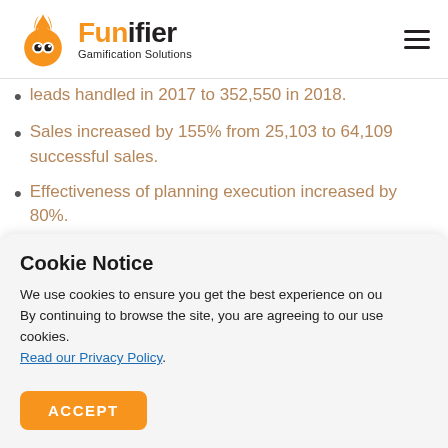Funifier Gamification Solutions
leads handled in 2017 to 352,550 in 2018.
Sales increased by 155% from 25,103 to 64,109 successful sales.
Effectiveness of planning execution increased by 80%.
[Figure (illustration): Partial circles visible at bottom of content area]
Cookie Notice
We use cookies to ensure you get the best experience on our site. By continuing to browse the site, you are agreeing to our use of cookies.
Read our Privacy Policy.
ACCEPT